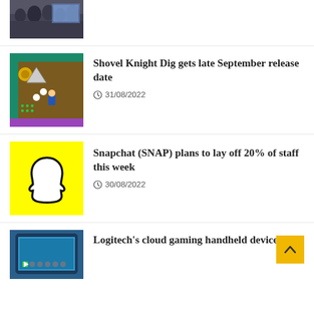[Figure (photo): Partial view of a crowd/event photo at the top of the page]
[Figure (screenshot): Game screenshot showing Shovel Knight Dig gameplay with overhead view]
Shovel Knight Dig gets late September release date
31/08/2022
[Figure (logo): Snapchat logo on yellow background]
Snapchat (SNAP) plans to lay off 20% of staff this week
30/08/2022
[Figure (photo): Photo of a Logitech cloud gaming handheld device]
Logitech's cloud gaming handheld device leaks